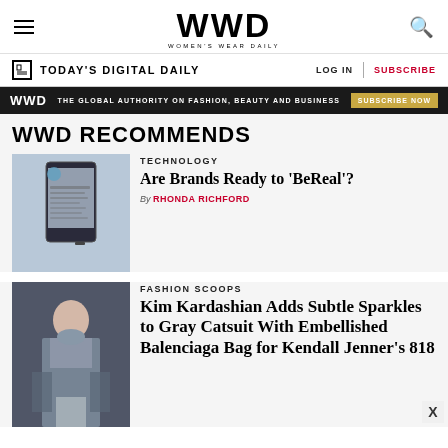WWD — Women's Wear Daily
TODAY'S DIGITAL DAILY
LOG IN | SUBSCRIBE
WWD — THE GLOBAL AUTHORITY ON FASHION, BEAUTY AND BUSINESS — SUBSCRIBE NOW
WWD RECOMMENDS
TECHNOLOGY
Are Brands Ready to 'BeReal'?
By RHONDA RICHFORD
[Figure (photo): Screenshot of the BeReal app on a smartphone]
FASHION SCOOPS
Kim Kardashian Adds Subtle Sparkles to Gray Catsuit With Embellished Balenciaga Bag for Kendall Jenner's 818
[Figure (photo): Kim Kardashian in a gray catsuit at an event]